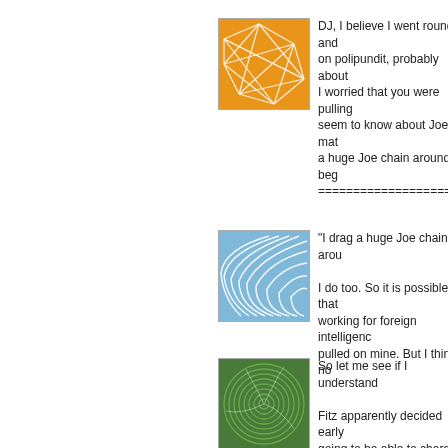[Figure (illustration): Orange square avatar with white geometric network/grid pattern]
DJ, I believe I went round and round on polipundit, probably about I worried that you were pulling seem to know about Joe mat a huge Joe chain around beg ====================
[Figure (illustration): Light blue square avatar with curved wave/feather pattern]
"I drag a huge Joe chain arou I do too. So it is possible that working for foreign intelligenc pulled on mine. But I think no
[Figure (illustration): Green square avatar with spiral/swirl pattern]
So let me see if I understand Fitz apparently decided early going to be able to charge an